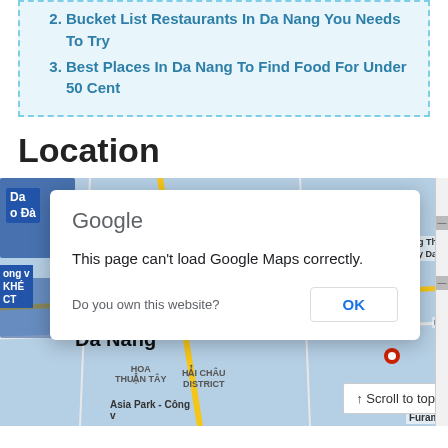2. Bucket List Restaurants In Da Nang You Needs To Try
3. Best Places In Da Nang To Find Food For Under 50 Cent
Location
[Figure (screenshot): Google Maps screenshot showing Da Nang area with a dialog box saying 'This page can't load Google Maps correctly.' and a prompt 'Do you own this website?' with an OK button. A 'Scroll to top' button is visible in the bottom right.]